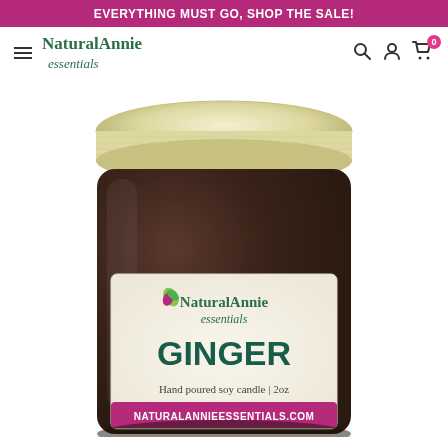EVERYTHING MUST GO, SHOP THE SALE!
[Figure (logo): NaturalAnnie essentials brand logo with hamburger menu icon on the left and search, account, cart icons on the right]
[Figure (photo): NaturalAnnie Essentials Ginger Hand poured soy candle 2oz in a dark amber jar with cream/gold lid and white label showing brand logo, GINGER text in dark teal, and website URL on a pink banner]